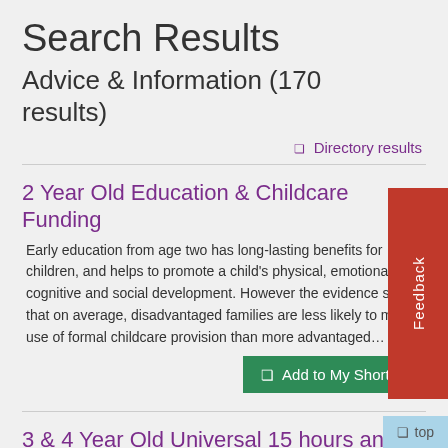Search Results
Advice & Information (170 results)
❏ Directory results
2 Year Old Education & Childcare Funding
Early education from age two has long-lasting benefits for children, and helps to promote a child's physical, emotional, cognitive and social development. However the evidence shows that on average, disadvantaged families are less likely to make use of formal childcare provision than more advantaged…
3 & 4 Year Old Universal 15 hours and